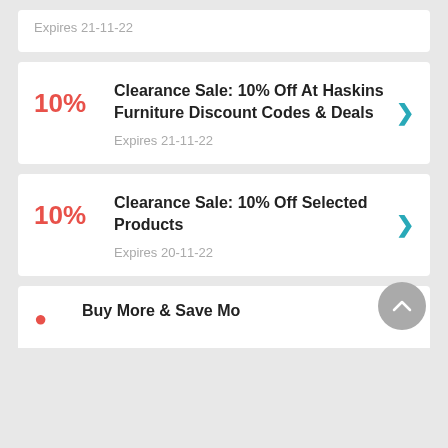Expires 21-11-22
10%
Clearance Sale: 10% Off At Haskins Furniture Discount Codes & Deals
Expires 21-11-22
10%
Clearance Sale: 10% Off Selected Products
Expires 20-11-22
Buy More & Save More